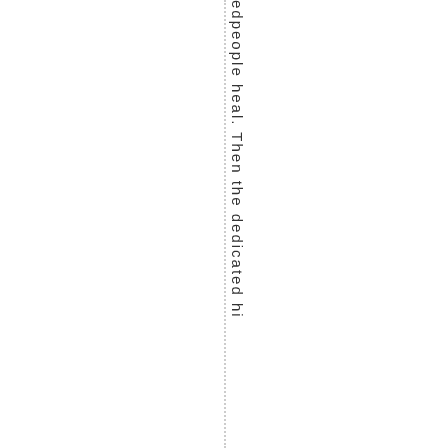edpeople heal. Then the dedicated hi